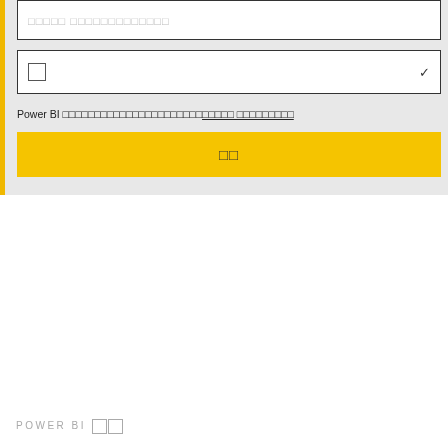[Figure (screenshot): UI form panel with a yellow left border on a gray background. Contains a text input box with placeholder characters, a dropdown selector, an informational text line about Power BI with underlined text, and a yellow submit button with box characters.]
Power BI □□□□□□□□□□□□□□□□□□□□□□□□□□□ □□□□□□□□□
POWER BI □□